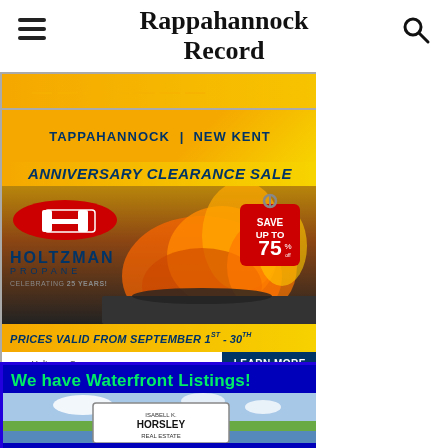Rappahannock Record
[Figure (advertisement): Partial advertisement banner with yellow/orange background, partially visible text]
[Figure (advertisement): Holtzman Propane Anniversary Clearance Sale ad. Locations: Tappahannock | New Kent. Save up to 75%. Celebrating 25 Years! Prices valid from September 1st - 30th. www.HoltzmanCorp.com | LEARN MORE]
[Figure (advertisement): We have Waterfront Listings! Isabell K. Horsley Real Estate - blue background with waterfront property image]